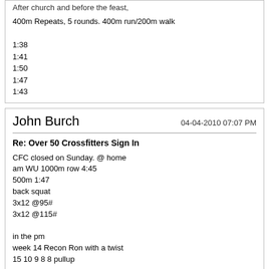After church and before the feast,
400m Repeats, 5 rounds. 400m run/200m walk
1:38
1:41
1:50
1:47
1:43
John Burch
04-04-2010 07:07 PM
Re: Over 50 Crossfitters Sign In
CFC closed on Sunday. @ home
am WU 1000m row 4:45
500m 1:47
back squat
3x12 @95#
3x12 @115#

in the pm
week 14 Recon Ron with a twist
15 10 9 8 8 pullup

15 10 9 8 8 ringdip

15 10 9 8 8 pushup